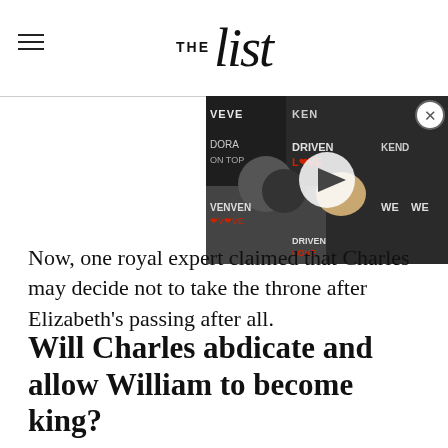THE list
[Figure (photo): Video thumbnail showing a man and woman at a red carpet event with 'DRIVEN LOVE', 'KENDRA ON TOP', 'WE' branding in background, with a play button overlay.]
Now, one royal expert claimed that Charles may decide not to take the throne after Elizabeth's passing after all.
Will Charles abdicate and allow William to become king?